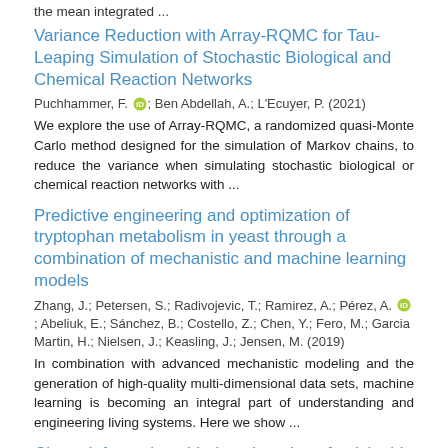the mean integrated ...
Variance Reduction with Array-RQMC for Tau-Leaping Simulation of Stochastic Biological and Chemical Reaction Networks
Puchhammer, F. [orcid]; Ben Abdellah, A.; L'Ecuyer, P. (2021)
We explore the use of Array-RQMC, a randomized quasi-Monte Carlo method designed for the simulation of Markov chains, to reduce the variance when simulating stochastic biological or chemical reaction networks with ...
Predictive engineering and optimization of tryptophan metabolism in yeast through a combination of mechanistic and machine learning models
Zhang, J.; Petersen, S.; Radivojevic, T.; Ramirez, A.; Pérez, A. [orcid]; Abeliuk, E.; Sánchez, B.; Costello, Z.; Chen, Y.; Fero, M.; Garcia Martin, H.; Nielsen, J.; Keasling, J.; Jensen, M. (2019)
In combination with advanced mechanistic modeling and the generation of high-quality multi-dimensional data sets, machine learning is becoming an integral part of understanding and engineering living systems. Here we show ...
Chemoinformatic-guided engineering of polyketide synthases